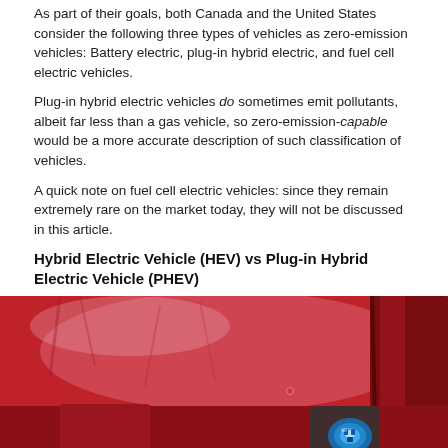As part of their goals, both Canada and the United States consider the following three types of vehicles as zero-emission vehicles: Battery electric, plug-in hybrid electric, and fuel cell electric vehicles.
Plug-in hybrid electric vehicles do sometimes emit pollutants, albeit far less than a gas vehicle, so zero-emission-capable would be a more accurate description of such classification of vehicles.
A quick note on fuel cell electric vehicles: since they remain extremely rare on the market today, they will not be discussed in this article.
Hybrid Electric Vehicle (HEV) vs Plug-in Hybrid Electric Vehicle (PHEV)
[Figure (photo): Close-up photograph of a red electric vehicle showing the charging port area with a blue charging connector/plug.]